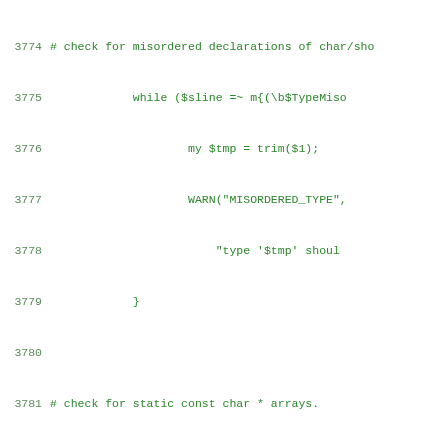[Figure (screenshot): Source code listing showing Perl code lines 3774-3794, with line numbers on the left and green monospace code on the right. The code checks for misordered declarations of char/short, static const char arrays, and static char foo[] declarations.]